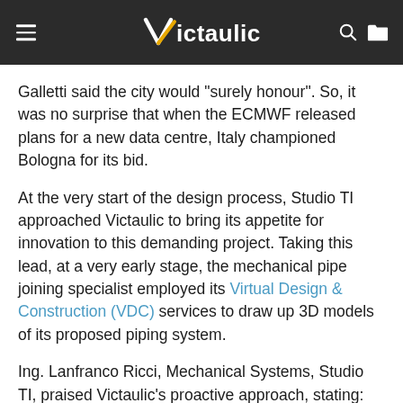Victaulic
Galletti said the city would “surely honour”. So, it was no surprise that when the ECMWF released plans for a new data centre, Italy championed Bologna for its bid.
At the very start of the design process, Studio TI approached Victaulic to bring its appetite for innovation to this demanding project. Taking this lead, at a very early stage, the mechanical pipe joining specialist employed its Virtual Design & Construction (VDC) services to draw up 3D models of its proposed piping system.
Ing. Lanfranco Ricci, Mechanical Systems, Studio TI, praised Victaulic’s proactive approach, stating: “The positive approach Victaulic took to this project was fantastic to work with. From the offset they